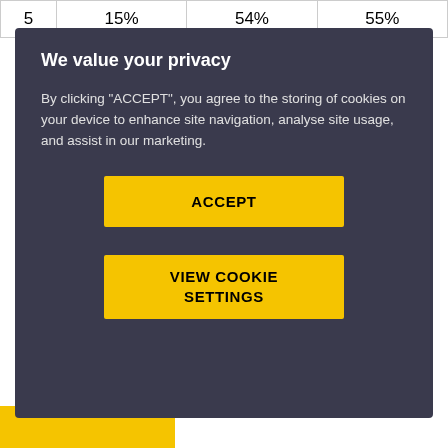| 5 | 15% | 54% | 55% |
Go further
Put yourself forward for the Student Radiographer of the Year award, presented by the Society and College of
[Figure (screenshot): Cookie consent modal overlay with dark background, title 'We value your privacy', body text about cookies, and two yellow buttons: ACCEPT and VIEW COOKIE SETTINGS]
(yellow bar at bottom left)